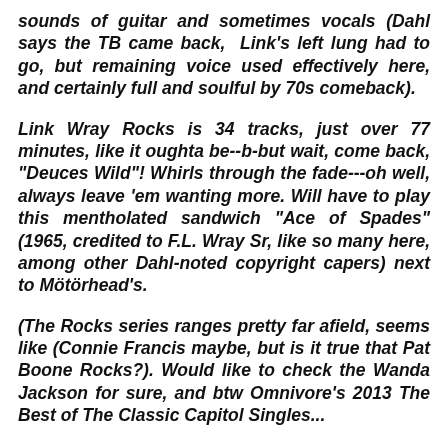sounds of guitar and sometimes vocals (Dahl says the TB came back, Link's left lung had to go, but remaining voice used effectively here, and certainly full and soulful by 70s comeback).
Link Wray Rocks is 34 tracks, just over 77 minutes, like it oughta be--b-but wait, come back, "Deuces Wild"! Whirls through the fade---oh well, always leave 'em wanting more. Will have to play this mentholated sandwich "Ace of Spades" (1965, credited to F.L. Wray Sr, like so many here, among other Dahl-noted copyright capers) next to Mötörhead's.
(The Rocks series ranges pretty far afield, seems like (Connie Francis maybe, but is it true that Pat Boone Rocks?). Would like to check the Wanda Jackson for sure, and btw Omnivore's 2013 The Best of The Classic Capitol Singles...